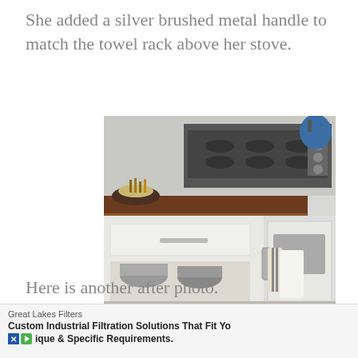She added a silver brushed metal handle to match the towel rack above her stove.
[Figure (photo): A white kitchen island/cart with a dark wood top, open shelves storing pots and pans, a silver bar handle on the side with towels hanging from it, positioned next to a gas stove.]
Here is another after photo.
[Figure (photo): Partial view of another after photo, cropped at the bottom of the page.]
Great Lakes Filters
Custom Industrial Filtration Solutions That Fit Yo
ique & Specific Requirements.